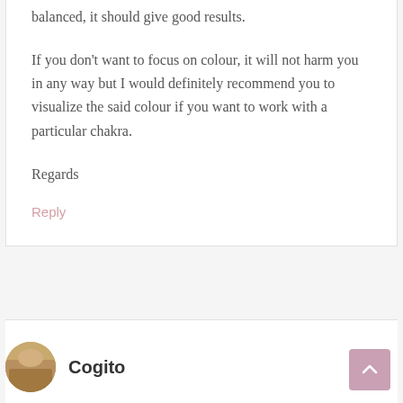balanced, it should give good results.
If you don't want to focus on colour, it will not harm you in any way but I would definitely recommend you to visualize the said colour if you want to work with a particular chakra.
Regards
Reply
Cogito